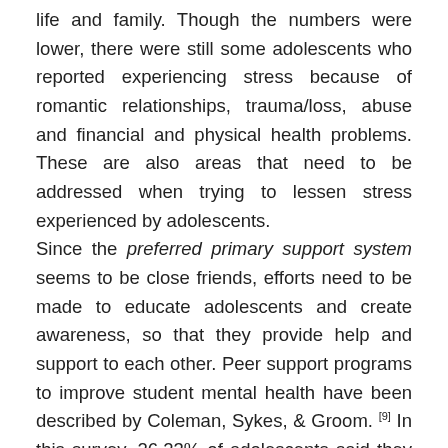life and family. Though the numbers were lower, there were still some adolescents who reported experiencing stress because of romantic relationships, trauma/loss, abuse and financial and physical health problems. These are also areas that need to be addressed when trying to lessen stress experienced by adolescents. Since the preferred primary support system seems to be close friends, efforts need to be made to educate adolescents and create awareness, so that they provide help and support to each other. Peer support programs to improve student mental health have been described by Coleman, Sykes, & Groom. [9] In this survey, 26.23% of adolescents said they would be most comfortable speaking to their mothers. In contrast, only 1.64% preferred sharing their emotional problems with their fathers. This pattern shows us that it would be unwise to club both mother and father into one category of